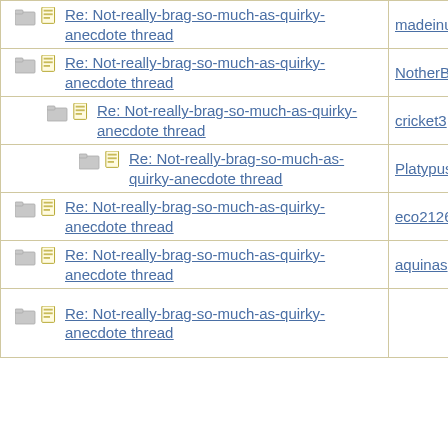| Thread | Author |
| --- | --- |
| Re: Not-really-brag-so-much-as-quirky-anecdote thread | madeinuk |
| Re: Not-really-brag-so-much-as-quirky-anecdote thread | NotherBe |
| Re: Not-really-brag-so-much-as-quirky-anecdote thread | cricket3 |
| Re: Not-really-brag-so-much-as-quirky-anecdote thread | Platypus1 |
| Re: Not-really-brag-so-much-as-quirky-anecdote thread | eco21268 |
| Re: Not-really-brag-so-much-as-quirky-anecdote thread | aquinas |
| Re: Not-really-brag-so-much-as-quirky-anecdote thread | ... |